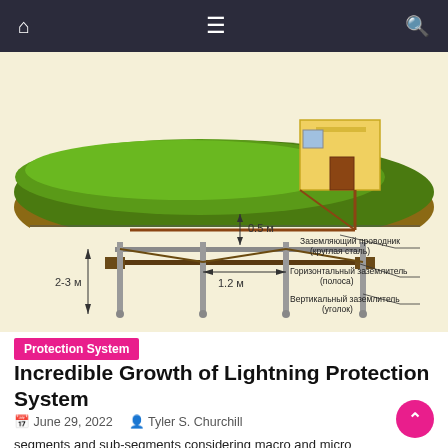Navigation bar with home, menu, and search icons
[Figure (engineering-diagram): Grounding system diagram showing a house on a grass mound above ground, with underground grounding system components: Заземляющий проводник (круглая сталь) - grounding conductor (round steel), Горизонтальный заземлитель (полоса) - horizontal grounding electrode (strip), Вертикальный заземлитель (уголок) - vertical grounding electrode (angle). Dimensions shown: 0.5 м depth from surface, 1.2 м horizontal spacing, 2-3 м vertical depth.]
Protection System
Incredible Growth of Lightning Protection System
June 29, 2022  Tyler S. Churchill
segments and sub-segments considering macro and micro environmental factors. It also assesses the bargaining power